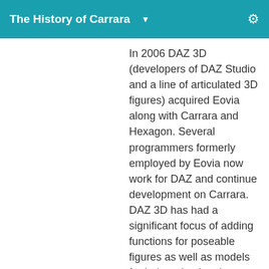The History of Carrara
In 2006 DAZ 3D (developers of DAZ Studio and a line of articulated 3D figures) acquired Eovia along with Carrara and Hexagon. Several programmers formerly employed by Eovia now work for DAZ and continue development on Carrara. DAZ 3D has had a significant focus of adding functions for poseable figures as well as models for hair and animation tools. May 2010 DAZ 3D launched the current version of Carrara 8.0 to the public. DAZ 3D works in